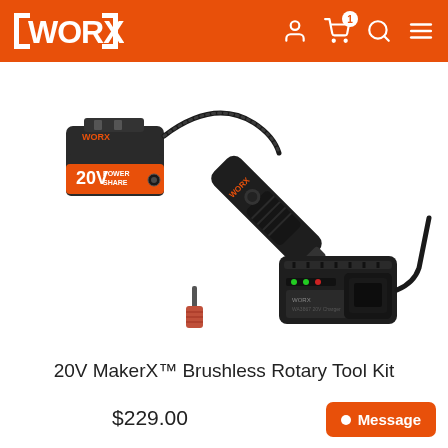WORX — navigation header with logo, user icon, cart (1 item), search icon, menu icon
[Figure (photo): 20V MakerX Brushless Rotary Tool Kit product photo showing rotary tool connected to 20V PowerShare battery via cable with sanding drum bit, and a separate battery charger — all on white background]
20V MakerX™ Brushless Rotary Tool Kit
$229.00